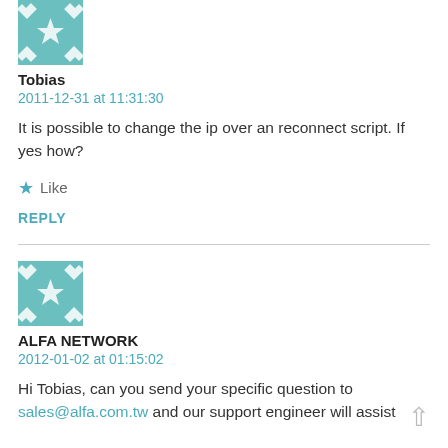[Figure (illustration): Quilted pattern avatar icon in teal/white for user Tobias (partially cropped at top)]
Tobias
2011-12-31 at 11:31:30
It is possible to change the ip over an reconnect script. If yes how?
★ Like
REPLY
[Figure (illustration): Quilted pattern avatar icon in teal/white for ALFA NETWORK]
ALFA NETWORK
2012-01-02 at 01:15:02
Hi Tobias, can you send your specific question to sales@alfa.com.tw and our support engineer will assist